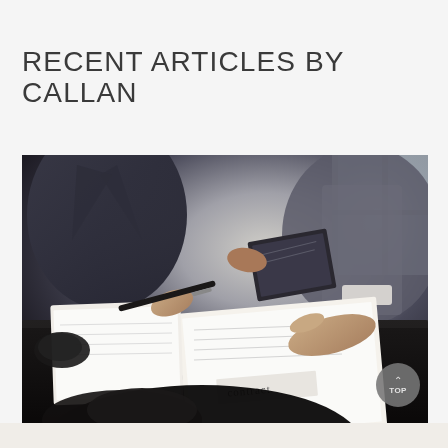RECENT ARTICLES BY CALLAN
[Figure (photo): Two business professionals at a table reviewing and discussing contract documents; one holds a pen and notepad, another points to a contract document on the table. A third person's hands are visible in the foreground. Dark professional setting with window light in the background.]